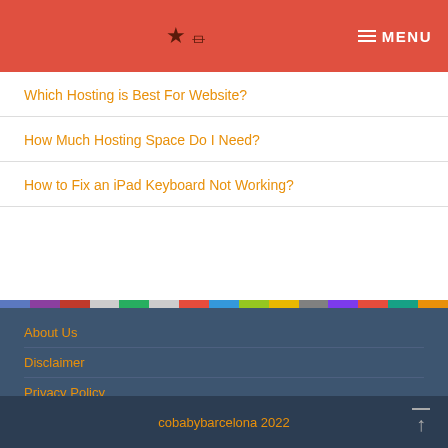RSS MENU
Which Hosting is Best For Website?
How Much Hosting Space Do I Need?
How to Fix an iPad Keyboard Not Working?
About Us
Disclaimer
Privacy Policy
Contact
cobabybarcelona 2022